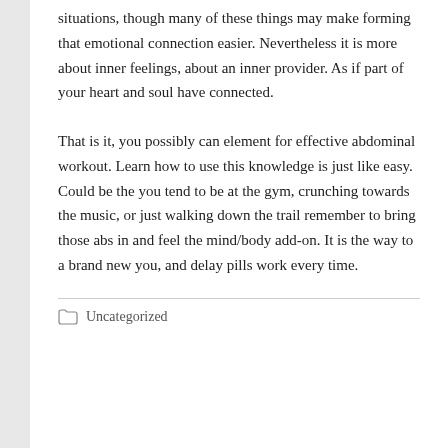situations, though many of these things may make forming that emotional connection easier. Nevertheless it is more about inner feelings, about an inner provider. As if part of your heart and soul have connected.
That is it, you possibly can element for effective abdominal workout. Learn how to use this knowledge is just like easy. Could be the you tend to be at the gym, crunching towards the music, or just walking down the trail remember to bring those abs in and feel the mind/body add-on. It is the way to a brand new you, and delay pills work every time.
Uncategorized